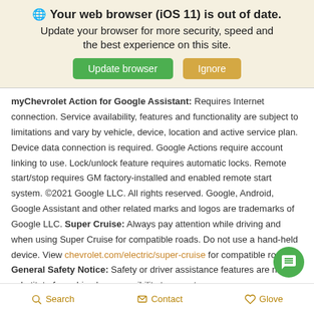🌐 Your web browser (iOS 11) is out of date. Update your browser for more security, speed and the best experience on this site.
myChevrolet Action for Google Assistant: Requires Internet connection. Service availability, features and functionality are subject to limitations and vary by vehicle, device, location and active service plan. Device data connection is required. Google Actions require account linking to use. Lock/unlock feature requires automatic locks. Remote start/stop requires GM factory-installed and enabled remote start system. ©2021 Google LLC. All rights reserved. Google, Android, Google Assistant and other related marks and logos are trademarks of Google LLC. Super Cruise: Always pay attention while driving and when using Super Cruise for compatible roads. Do not use a hand-held device. View chevrolet.com/electric/super-cruise for compatible roads. General Safety Notice: Safety or driver assistance features are no substitute for a driver's responsibility to operate a
Search   Contact   Glove